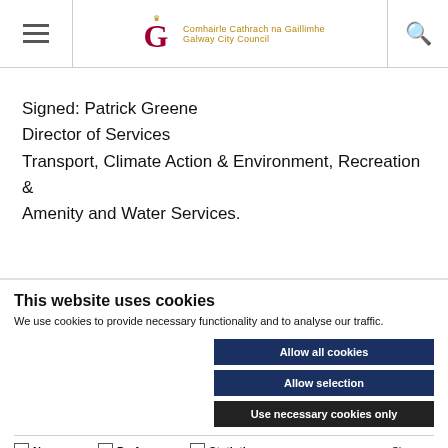Galway City Council — Comhairle Cathrach na Gaillimhe
Signed: Patrick Greene
Director of Services
Transport, Climate Action & Environment, Recreation & Amenity and Water Services.
This website uses cookies
We use cookies to provide necessary functionality and to analyse our traffic.
Allow all cookies
Allow selection
Use necessary cookies only
Necessary   Preferences   Statistics   Marketing   Show details